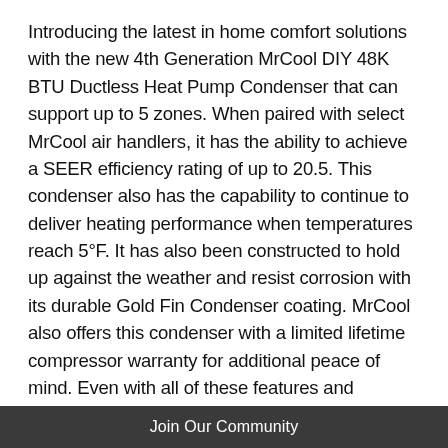Introducing the latest in home comfort solutions with the new 4th Generation MrCool DIY 48K BTU Ductless Heat Pump Condenser that can support up to 5 zones. When paired with select MrCool air handlers, it has the ability to achieve a SEER efficiency rating of up to 20.5. This condenser also has the capability to continue to deliver heating performance when temperatures reach 5°F. It has also been constructed to hold up against the weather and resist corrosion with its durable Gold Fin Condenser coating. MrCool also offers this condenser with a limited lifetime compressor warranty for additional peace of mind. Even with all of these features and performance, this Do-It-Yourself condenser still has the ability to be installed by a homeowner without needing a certified technician. It is
Join Our Community